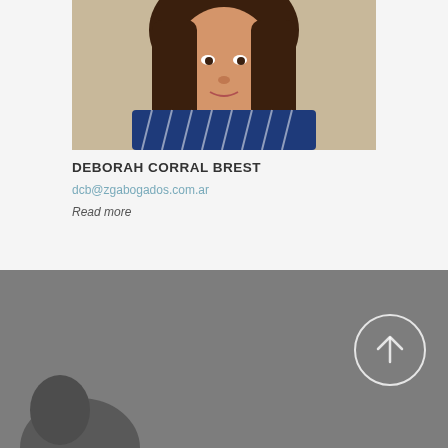[Figure (photo): Portrait photo of a woman with dark hair wearing a blue striped shirt]
DEBORAH CORRAL BREST
dcb@zgabogados.com.ar
Read more
[Figure (photo): Grayscale background photo with an upward arrow in a circle on the right side]